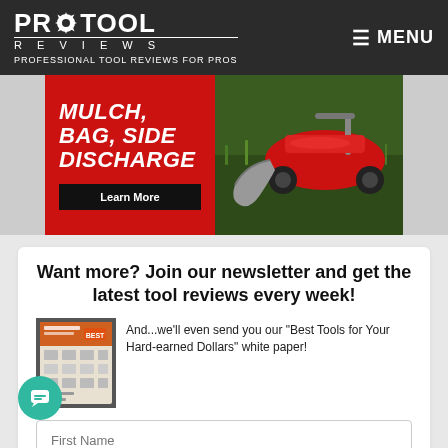PRO TOOL REVIEWS — PROFESSIONAL TOOL REVIEWS FOR PROS | MENU
[Figure (photo): Advertisement banner for Milwaukee lawn mower: red panel with text 'MULCH, BAG, SIDE DISCHARGE' and 'Learn More' button; right side shows a red ride-on mower on green grass.]
Want more? Join our newsletter and get the latest tool reviews every week!
[Figure (photo): Thumbnail image of 'Best Tools for Your Hard-earned Dollars' white paper booklet cover.]
And...we'll even send you our "Best Tools for Your Hard-earned Dollars" white paper!
First Name
Email